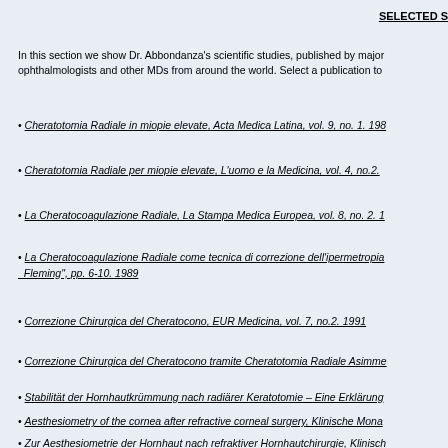SELECTED S
In this section we show Dr. Abbondanza's scientific studies, published by major ophthalmologists and other MDs from around the world. Select a publication to
• Cheratotomia Radiale in miopie elevate, Acta Medica Latina, vol. 9, no. 1. 198
• Cheratotomia Radiale per miopie elevate, L'uomo e la Medicina, vol. 4, no.2.
• La Cheratocoagulazione Radiale, La Stampa Medica Europea, vol. 8, no. 2. 1
• La Cheratocoagulazione Radiale come tecnica di correzione dell'ipermetropia Fleming", pp. 6-10. 1989
• Correzione Chirurgica del Cheratocono, EUR Medicina, vol. 7, no.2. 1991
• Correzione Chirurgica del Cheratocono tramite Cheratotomia Radiale Asimme
• Stabilität der Hornhautkrümmung nach radiärer Keratotomie – Eine Erklärung
• Aesthesiometry of the cornea after refractive corneal surgery, Klinische Mona
• Zur Aesthesiometrie der Hornhaut nach refraktiver Hornhautchirurgie, Klinisch